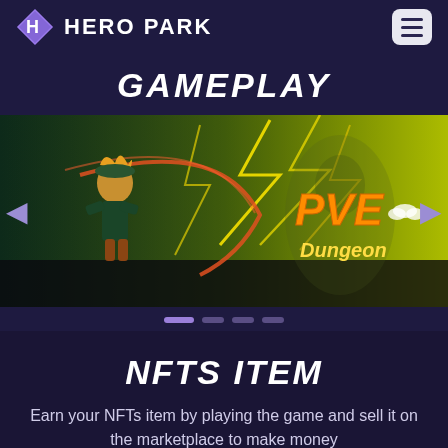HERO PARK
GAMEPLAY
[Figure (screenshot): Gameplay screenshot showing an animated character with a scythe weapon attacking with yellow lightning effects, with 'PVE Dungeon' text overlay on a green-toned background]
NFTS ITEM
Earn your NFTs item by playing the game and sell it on the marketplace to make money